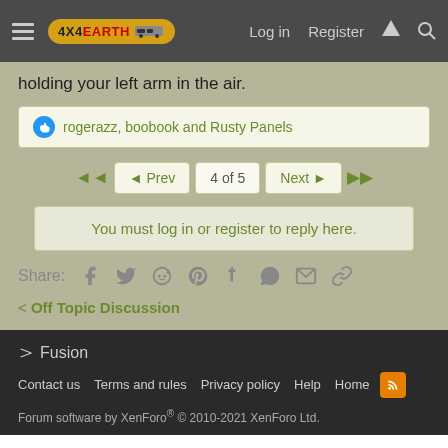4X4EARTH — Log in  Register
holding your left arm in the air.
rogerazz, boobook and Rusty Panels
◄◄  ◄ Prev  4 of 5  Next ►  ►►
You must log in or register to reply here.
Share:
< Off Topic Discussion
Fusion  Contact us  Terms and rules  Privacy policy  Help  Home  Forum software by XenForo® © 2010-2021 XenForo Ltd.